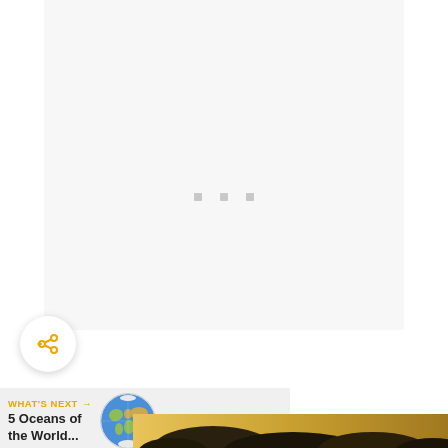[Figure (other): Large white/light gray content area with three small gray square dots in the center, representing a loading or placeholder state for a slideshow or media element]
[Figure (other): Circular share/add button with orange share-and-plus icon on white background with drop shadow]
WHAT'S NEXT →
5 Oceans of the World...
[Figure (illustration): Globe/world map icon showing colorful political map of the world in a circular form]
[Figure (photo): Partial photo at bottom showing dark clouds against a golden/yellow sky]